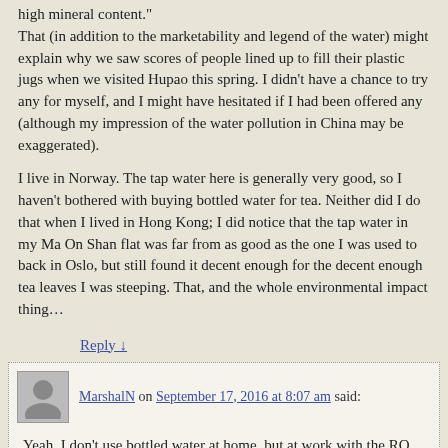high mineral content." That (in addition to the marketability and legend of the water) might explain why we saw scores of people lined up to fill their plastic jugs when we visited Hupao this spring. I didn't have a chance to try any for myself, and I might have hesitated if I had been offered any (although my impression of the water pollution in China may be exaggerated).
I live in Norway. The tap water here is generally very good, so I haven't bothered with buying bottled water for tea. Neither did I do that when I lived in Hong Kong; I did notice that the tap water in my Ma On Shan flat was far from as good as the one I was used to back in Oslo, but still found it decent enough for the decent enough tea leaves I was steeping. That, and the whole environmental impact thing…
Reply ↓
MarshalN on September 17, 2016 at 8:07 am said:
Yeah, I don't use bottled water at home, but at work with the RO filter if I don't use anything it destroys my tea, so there's not much of a choice.